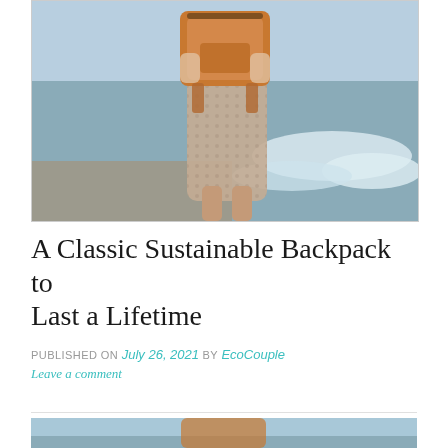[Figure (photo): Person standing at the beach shoreline wearing a patterned dress and carrying a tan/brown leather backpack, water and waves visible]
A Classic Sustainable Backpack to Last a Lifetime
PUBLISHED ON July 26, 2021 by EcoCouple
Leave a comment
[Figure (photo): Partial photo at bottom of page showing a person at the beach, presumably carrying or displaying the same backpack]